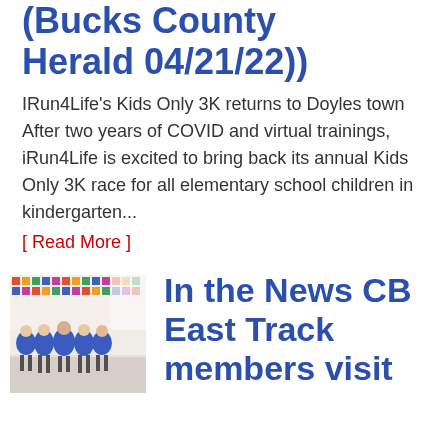(Bucks County Herald 04/21/22))
IRun4Life's Kids Only 3K returns to Doyles town After two years of COVID and virtual trainings, iRun4Life is excited to bring back its annual Kids Only 3K race for all elementary school children in kindergarten...
[ Read More ]
[Figure (photo): Group photo of five people wearing blue shirts standing in a classroom]
In the News CB East Track members visit